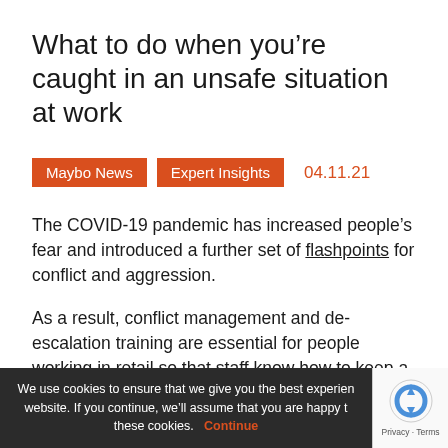What to do when you're caught in an unsafe situation at work
Maybo News   Expert Insights   04.11.21
The COVID-19 pandemic has increased people's fear and introduced a further set of flashpoints for conflict and aggression.
As a result, conflict management and de-escalation training are essential for people working in retail so that staff know how to keep a potentially violent situation calm, and can guarantee safety in the workplace.
We use cookies to ensure that we give you the best experience on our website. If you continue, we'll assume that you are happy to receive these cookies. Continue